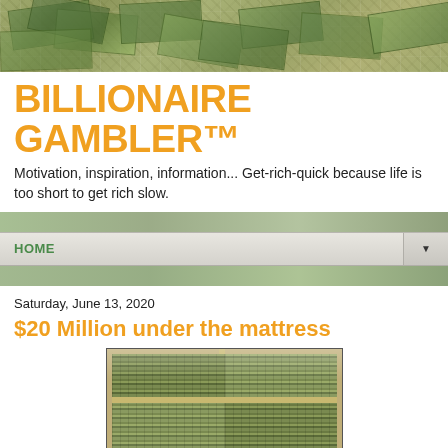[Figure (photo): Header banner with pile of US dollar bills as background image]
BILLIONAIRE GAMBLER™
Motivation, inspiration, information... Get-rich-quick because life is too short to get rich slow.
HOME
Saturday, June 13, 2020
$20 Million under the mattress
[Figure (photo): Photo of a mattress box spring compartment stuffed with stacks of bundled US dollar bills arranged in a grid]